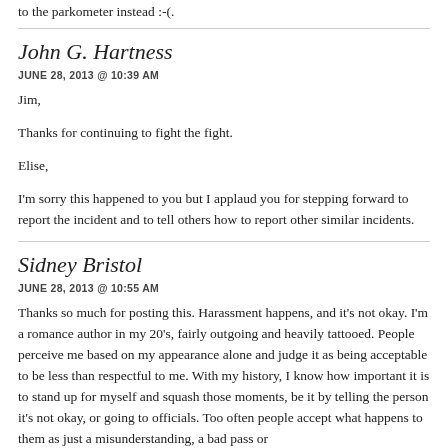to the parkometer instead :-(.
John G. Hartness
JUNE 28, 2013 @ 10:39 AM
Jim,

Thanks for continuing to fight the fight.

Elise,

I'm sorry this happened to you but I applaud you for stepping forward to report the incident and to tell others how to report other similar incidents.
Sidney Bristol
JUNE 28, 2013 @ 10:55 AM
Thanks so much for posting this. Harassment happens, and it's not okay. I'm a romance author in my 20's, fairly outgoing and heavily tattooed. People perceive me based on my appearance alone and judge it as being acceptable to be less than respectful to me. With my history, I know how important it is to stand up for myself and squash those moments, be it by telling the person it's not okay, or going to officials. Too often people accept what happens to them as just a misunderstanding, a bad pass or